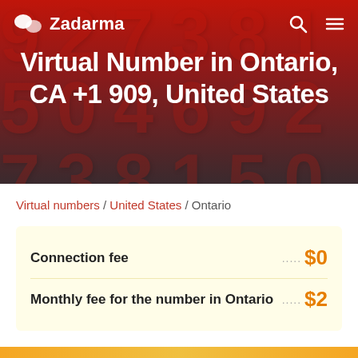Zadarma
Virtual Number in Ontario, CA +1 909, United States
Virtual numbers / United States / Ontario
| Fee type | Amount |
| --- | --- |
| Connection fee | $0 |
| Monthly fee for the number in Ontario | $2 |